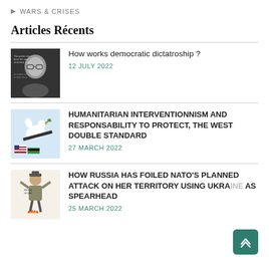▶ WARS & CRISES
Articles Récents
How works democratic dictatroship ?
12 JULY 2022
HUMANITARIAN INTERVENTIONNISM AND RESPONSABILITY TO PROTECT, THE WEST DOUBLE STANDARD
27 MARCH 2022
HOW RUSSIA HAS FOILED NATO'S PLANNED ATTACK ON HER TERRITORY USING UKRAINE AS SPEARHEAD
25 MARCH 2022